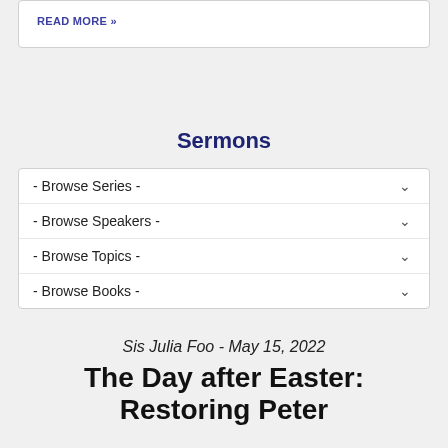READ MORE »
Sermons
- Browse Series -
- Browse Speakers -
- Browse Topics -
- Browse Books -
Sis Julia Foo - May 15, 2022
The Day after Easter: Restoring Peter